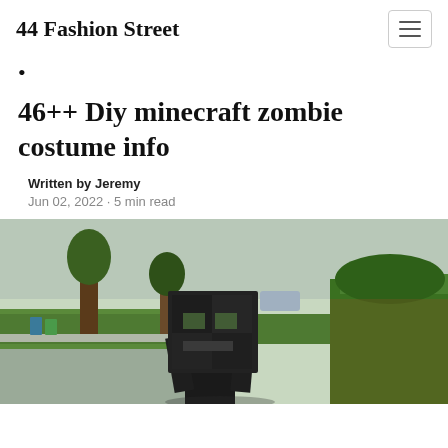44 Fashion Street
·
46++ Diy minecraft zombie costume info
Written by Jeremy
Jun 02, 2022 · 5 min read
[Figure (photo): Outdoor suburban street scene with trees and greenery; a person wearing a large black Minecraft zombie head costume is visible in the foreground.]